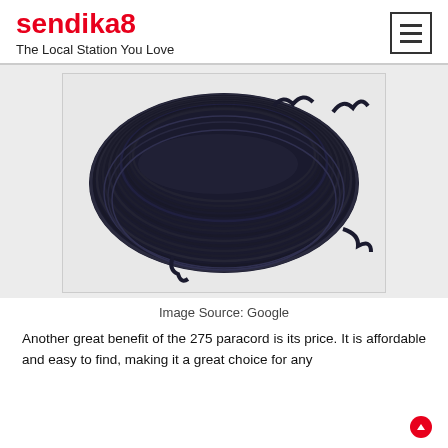sendika8 — The Local Station You Love
[Figure (photo): A coiled bundle of black paracord rope photographed on a white background. The cord is wound into a flat oval skein showing many parallel strands.]
Image Source: Google
Another great benefit of the 275 paracord is its price. It is affordable and easy to find, making it a great choice for any